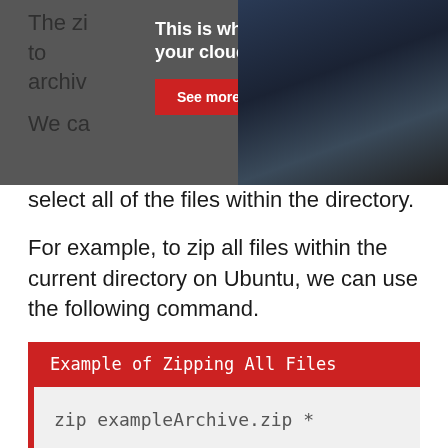The zip command ... to archive ...
We ca ... ( * ) to select all of the files within the directory.
For example, to zip all files within the current directory on Ubuntu, we can use the following command.
[Figure (screenshot): Advertisement overlay: 'This is what connecting your clouds feels like' with a 'See more' red button, over a dark photo of a person at a computer.]
Example of Zipping All Files